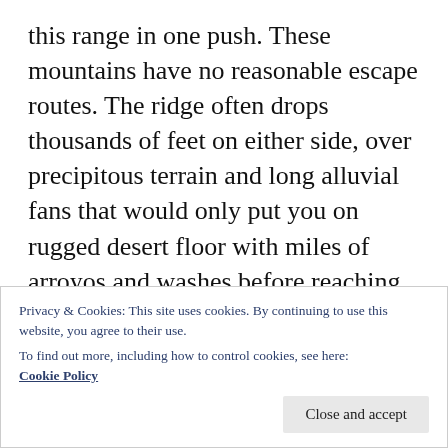this range in one push. These mountains have no reasonable escape routes. The ridge often drops thousands of feet on either side, over precipitous terrain and long alluvial fans that would only put you on rugged desert floor with miles of arroyos and washes before reaching any roads. There is no water, zero, nada! The brush is stronger than the extreme winds that often rip through and are certain to steal your time, and time is water. Because there is desert on either side of the ridge, any precipitation that lands on it evaporates pretty quickly. This means that you lose water
Privacy & Cookies: This site uses cookies. By continuing to use this website, you agree to their use.
To find out more, including how to control cookies, see here:
Cookie Policy